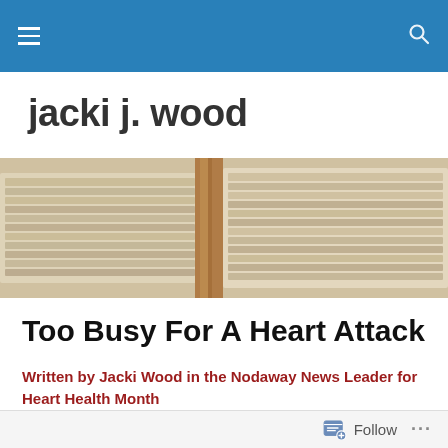Navigation bar with hamburger menu and search icon
jacki j. wood
[Figure (photo): Stacks of newspapers or papers on wooden shelves, sepia-toned, banner image]
Too Busy For A Heart Attack
Written by Jacki Wood in the Nodaway News Leader for Heart Health Month
More women die of heart disease than all forms of cancer combined. Unfortunately,
Follow ...